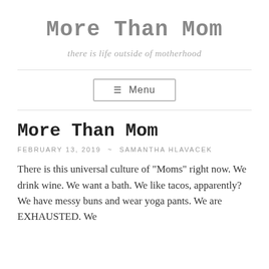More Than Mom
there is life outside of motherhood
☰ Menu
More Than Mom
FEBRUARY 13, 2019 ~ SAMANTHA HLAVACEK
There is this universal culture of "Moms" right now.  We drink wine.  We want a bath.  We like tacos, apparently?  We have messy buns and wear yoga pants.  We are EXHAUSTED.  We